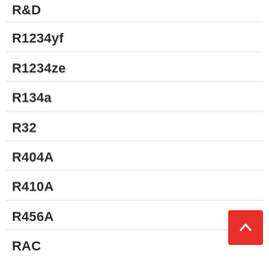R&D
R1234yf
R1234ze
R134a
R32
R404A
R410A
R456A
RAC